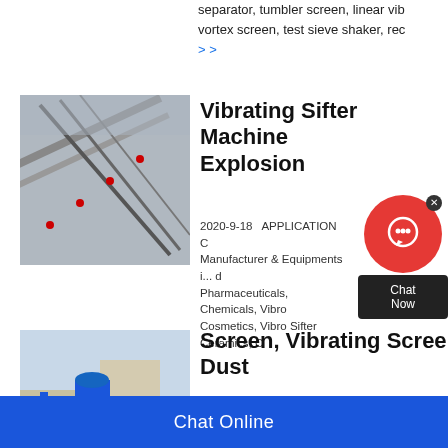separator, tumbler screen, linear vib... vortex screen, test sieve shaker, rec...
> >
[Figure (photo): Industrial conveyor belt or sorting equipment on a construction/mining site]
Vibrating Sifter Machine... Explosion
2020-9-18   APPLICATION C... Manufacturer & Equipments i... Pharmaceuticals, Chemicals, Vibro... Cosmetics, Vibro Sifter Ceramics, C...
[Figure (photo): Industrial dust collection or cyclone separator equipment, blue machinery against sky]
Screen, Vibrating Scree... Dust
7 □   2021-4-3   Most Efficient Vibra... The
[Figure (infographic): Chat Now widget with red circle icon and dark Chat Now box]
Chat Online